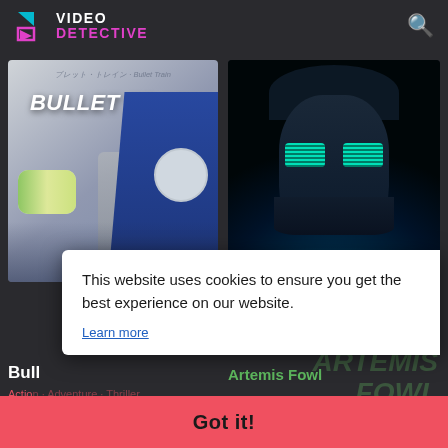VIDEO DETECTIVE
[Figure (screenshot): Video Detective website screenshot showing two movie posters: Bullet Train and Artemis Fowl, with a cookie consent banner overlay and a Got it button]
This website uses cookies to ensure you get the best experience on our website.
Learn more
Bullet Train
Action
85
Artemis Fowl
85
Got it!